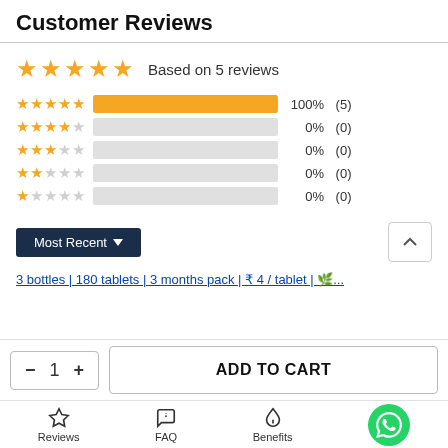Customer Reviews
Based on 5 reviews
[Figure (infographic): Star rating breakdown: 5-star 100% (5), 4-star 0% (0), 3-star 0% (0), 2-star 0% (0), 1-star 0% (0)]
Most Recent (dropdown)
3 bottles | 180 tablets | 3 months pack | ₹ 4 / tablet | 🌿...
- 1 + ADD TO CART
Reviews  FAQ  Benefits